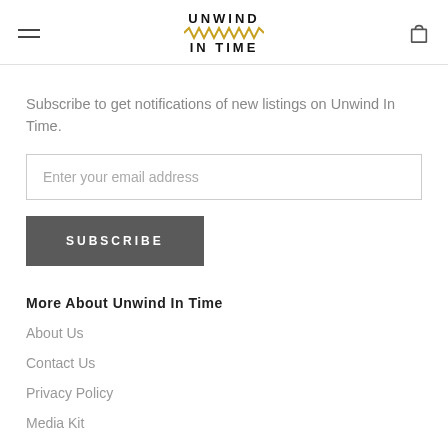UNWIND IN TIME
Subscribe to get notifications of new listings on Unwind In Time.
Enter your email address
SUBSCRIBE
More About Unwind In Time
About Us
Contact Us
Privacy Policy
Media Kit